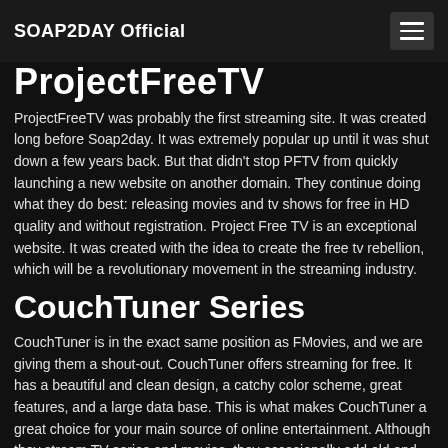SOAP2DAY Official
ProjectFreeTV
ProjectFreeTV was probably the first streaming site. It was created long before Soap2day. It was extremely popular up until it was shut down a few years back. But that didn't stop PFTV from quickly launching a new website on another domain. They continue doing what they do best: releasing movies and tv shows for free in HD quality and without registration. Project Free TV is an exceptional website. It was created with the idea to create the free tv rebellion, which will be a revolutionary movement in the streaming industry.
CouchTuner Series
CouchTuner is in the exact same position as FMovies, and we are giving them a shout-out. CouchTuner offers streaming for free. It has a beautiful and clean design, a catchy color scheme, great features, and a large data base. This is what makes CouchTuner a great choice for your main source of online entertainment. Although they stream TV series and movies, they occasionally add old and new movies.
Watch Soap...
15,384 Users Online